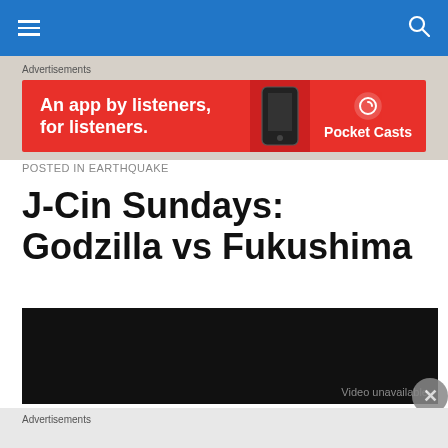Advertisements
[Figure (infographic): Pocket Casts advertisement banner: 'An app by listeners, for listeners.' on red background with phone image and Pocket Casts logo]
POSTED IN EARTHQUAKE
J-Cin Sundays: Godzilla vs Fukushima
[Figure (screenshot): Embedded video player with dark/black background, video unavailable message]
Advertisements